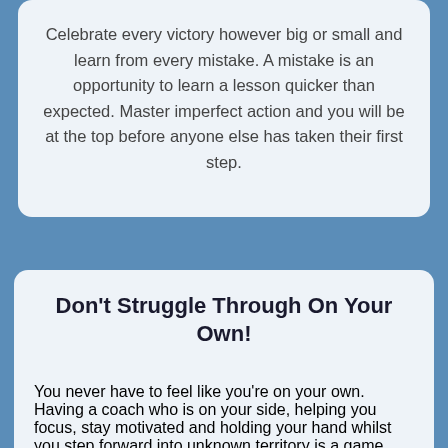Celebrate every victory however big or small and learn from every mistake. A mistake is an opportunity to learn a lesson quicker than expected. Master imperfect action and you will be at the top before anyone else has taken their first step.
Don't Struggle Through On Your Own!
You never have to feel like you're on your own. Having a coach who is on your side, helping you focus, stay motivated and holding your hand whilst you step forward into unknown territory is a game changer. Do you have dreams? Is there something